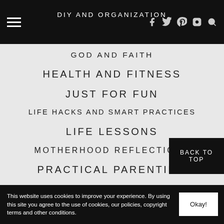DIY AND ORGANIZATION
GOD AND FAITH
HEALTH AND FITNESS
JUST FOR FUN
LIFE HACKS AND SMART PRACTICES
LIFE LESSONS
MOTHERHOOD REFLECTIONS
PRACTICAL PARENTING
PROFESSIONAL SIDE OF LIFE
BACK TO TOP
This website uses cookies to improve your experience. By using this site you agree to the use of cookies, our policies, copyright terms and other conditions.